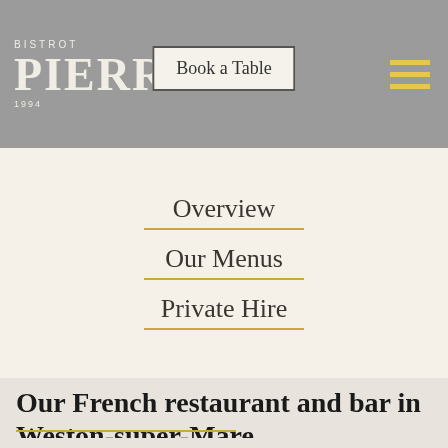BISTROT PIERRE 1994
Book a Table
Overview
Our Menus
Private Hire
Our French restaurant and bar in Weston-super-Mare
Enjoy freshly prepared French food in our beautiful Bistrot. With first-class dining and a warm, tried and tested...